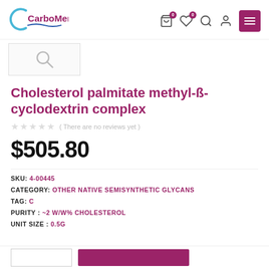CarboMer — navigation header with cart, wishlist, search, account, and menu icons
[Figure (logo): CarboMer logo with stylized C and wave underline in blue]
[Figure (photo): Small product thumbnail image placeholder with magnifying glass icon]
Cholesterol palmitate methyl-ß-cyclodextrin complex
★★★★★ ( There are no reviews yet )
$505.80
SKU: 4-00445
CATEGORY: OTHER NATIVE SEMISYNTHETIC GLYCANS
TAG: C
PURITY : ~2 W/W% CHOLESTEROL
UNIT SIZE : 0.5G